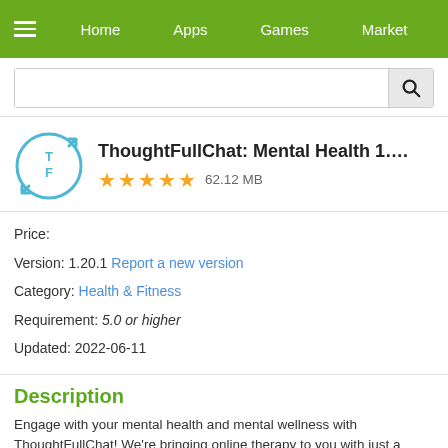Home  Apps  Games  Market
[Figure (screenshot): Search bar with magnifying glass icon]
ThoughtFullChat: Mental Health 1….
★★★★★  62.12 MB
Price:
Version: 1.20.1  Report a new version
Category: Health & Fitness
Requirement: 5.0 or higher
Updated: 2022-06-11
Description
Engage with your mental health and mental wellness with ThoughtFullChat! We're bringing online therapy to you with just a simple tap on your device. Get connected with your best-fit certified mental health therapist (counsellors or psychologists).